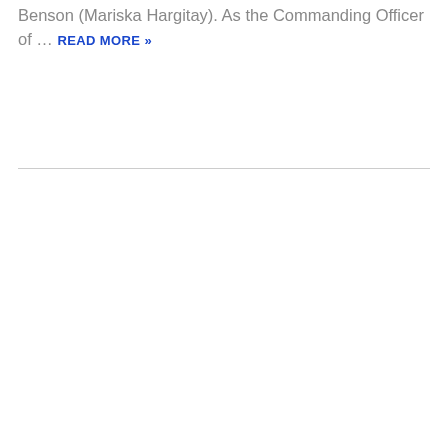Benson (Mariska Hargitay). As the Commanding Officer of … READ MORE »